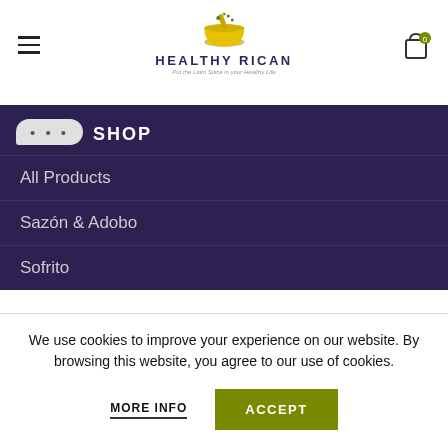[Figure (logo): Healthy Rican logo with mortar and pestle icon above text HEALTHY RICAN and tagline Put the Latin Spice in your Healthy Life]
SHOP
All Products
Sazón & Adobo
Sofrito
We use cookies to improve your experience on our website. By browsing this website, you agree to our use of cookies.
MORE INFO   ACCEPT